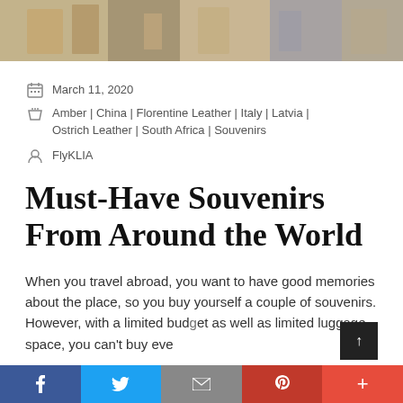[Figure (photo): Partial view of a market/shop displaying souvenirs and leather goods, cropped at the top of the page]
March 11, 2020
Amber | China | Florentine Leather | Italy | Latvia | Ostrich Leather | South Africa | Souvenirs
FlyKLIA
Must-Have Souvenirs From Around the World
When you travel abroad, you want to have good memories about the place, so you buy yourself a couple of souvenirs. However, with a limited budget as well as limited luggage space, you can't buy eve…